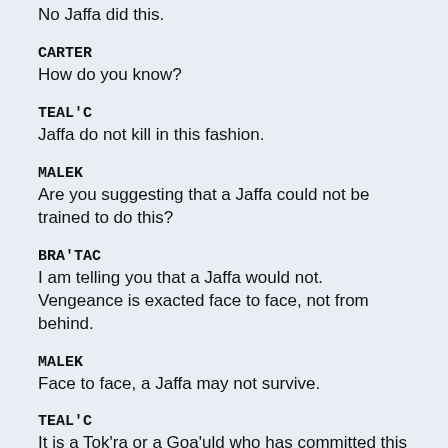No Jaffa did this.
CARTER
How do you know?
TEAL'C
Jaffa do not kill in this fashion.
MALEK
Are you suggesting that a Jaffa could not be trained to do this?
BRA'TAC
I am telling you that a Jaffa would not. Vengeance is exacted face to face, not from behind.
MALEK
Face to face, a Jaffa may not survive.
TEAL'C
It is a Tok'ra or a Goa'uld who has committed this act